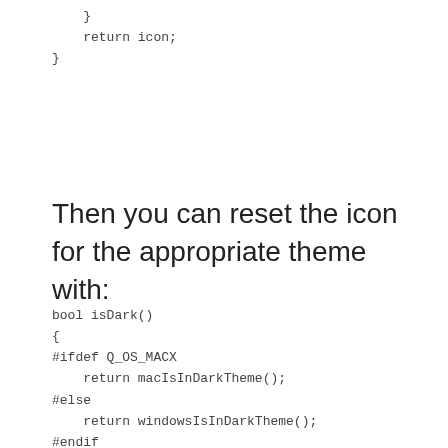}
    return icon;
}
Then you can reset the icon for the appropriate theme with:
bool isDark()
{
#ifdef Q_OS_MACX
    return macIsInDarkTheme();
#else
    return windowsIsInDarkTheme();
#endif
}
...
myButton->setIcon( getIconResource( "my_icon.png",
isDark() ) );